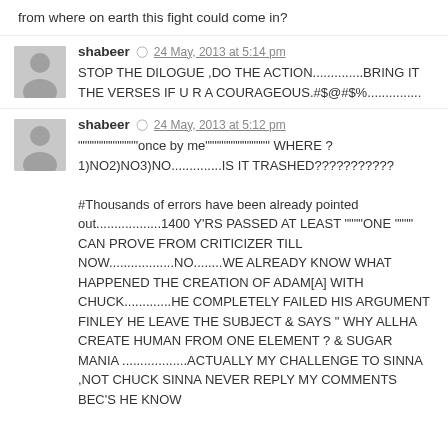from where on earth this fight could come in?
shabeer · 24 May, 2013 at 5:14 pm
STOP THE DILOGUE ,DO THE ACTION..............BRING IT THE VERSES IF U R A COURAGEOUS.#$@#$%...............
shabeer · 24 May, 2013 at 5:12 pm
""""""""""""once by me"""""""""""""" WHERE ? 1)NO2)NO3)NO..............IS IT TRASHED???????????

#Thousands of errors have been already pointed out..................1400 Y'RS PASSED AT LEAST """"ONE """" CAN PROVE FROM CRITICIZER TILL NOW..................NO........WE ALREADY KNOW WHAT HAPPENED THE CREATION OF ADAM[A] WITH CHUCK.............HE COMPLETELY FAILED HIS ARGUMENT FINLEY HE LEAVE THE SUBJECT & SAYS " WHY ALLHA CREATE HUMAN FROM ONE ELEMENT ? & SUGAR MANIA ..................ACTUALLY MY CHALLENGE TO SINNA ,NOT CHUCK SINNA NEVER REPLY MY COMMENTS BEC'S HE KNOW